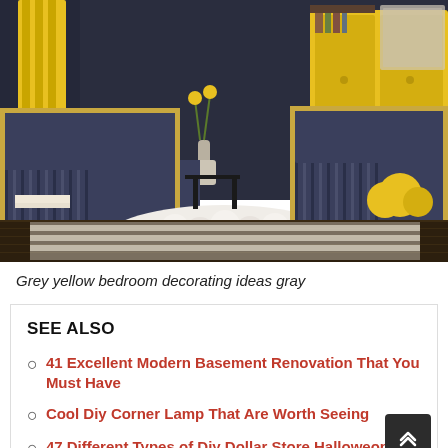[Figure (photo): Interior design photo of a grey and yellow bedroom/living space featuring navy striped sofas/chairs with brass frames, a chunky white knit throw blanket, yellow curtains, yellow cabinet, yellow flowers in vase, dark hardwood floor, and striped rug.]
Grey yellow bedroom decorating ideas gray
SEE ALSO
41 Excellent Modern Basement Renovation That You Must Have
Cool Diy Corner Lamp That Are Worth Seeing
47 Different Types of Diy Dollar Store Halloween